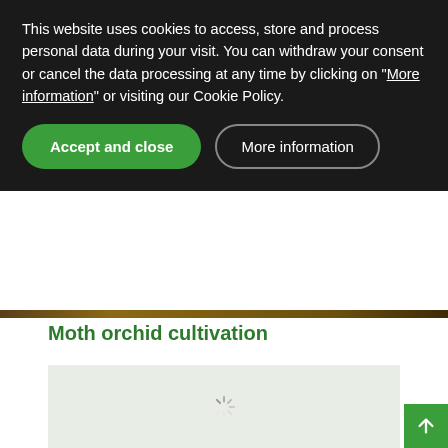This website uses cookies to access, store and process personal data during your visit. You can withdraw your consent or cancel the data processing at any time by clicking on "More information" or visiting our Cookie Policy.
[Figure (screenshot): Two buttons: green 'Accept and close' pill button and outlined 'More information' pill button on dark background]
Moth orchid cultivation
[Figure (photo): Loading placeholder image area with spinner icon, light green background]